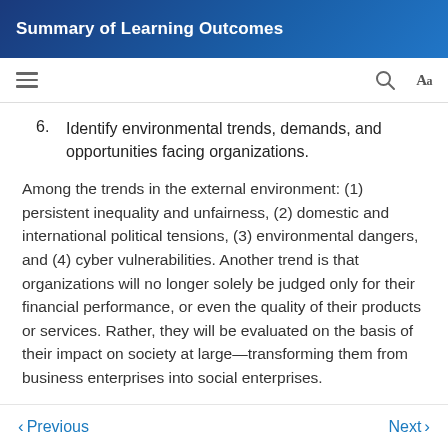Summary of Learning Outcomes
6. Identify environmental trends, demands, and opportunities facing organizations.
Among the trends in the external environment: (1) persistent inequality and unfairness, (2) domestic and international political tensions, (3) environmental dangers, and (4) cyber vulnerabilities. Another trend is that organizations will no longer solely be judged only for their financial performance, or even the quality of their products or services. Rather, they will be evaluated on the basis of their impact on society at large—transforming them from business enterprises into social enterprises.
Previous   Next